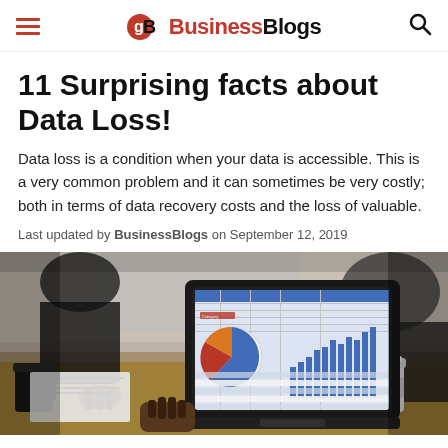BusinessBlogs
11 Surprising facts about Data Loss!
Data loss is a condition when your data is accessible. This is a very common problem and it can sometimes be very costly; both in terms of data recovery costs and the loss of valuable.
Last updated by BusinessBlogs on September 12, 2019
[Figure (photo): Person holding a tablet/laptop showing spreadsheet data with pie chart and bar chart, office meeting setting with coffee cups in background]